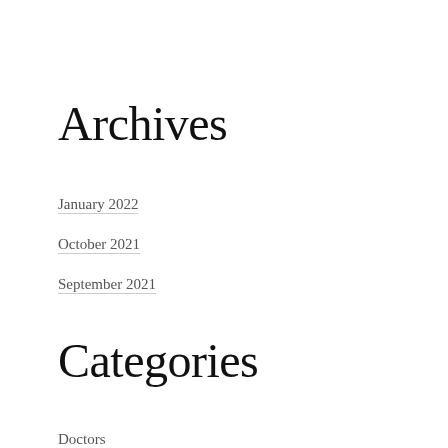Archives
January 2022
October 2021
September 2021
Categories
Doctors